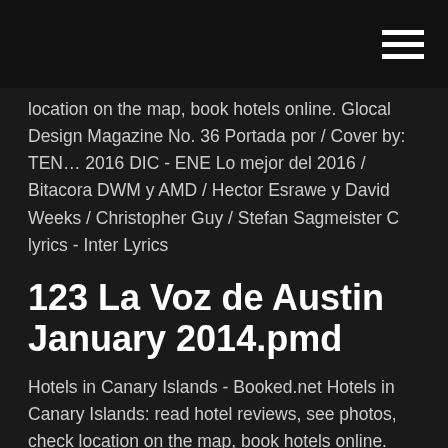[hamburger menu icon]
location on the map, book hotels online. Glocal Design Magazine No. 36 Portada por / Cover by: TEN… 2016 DIC - ENE Lo mejor del 2016 / Bitacora DWM y AMD / Hector Esrawe y David Weeks / Christopher Guy / Stefan Sagmeister C lyrics - Inter Lyrics
123 La Voz de Austin January 2014.pmd
Hotels in Canary Islands - Booked.net Hotels in Canary Islands: read hotel reviews, see photos, check location on the map, book hotels online. Glocal Design Magazine No. 36 Portada por / Cover by: TEN… 2016 DIC - ENE Lo mejor del 2016 / Bitacora DWM y AMD / Hector Esrawe y David Weeks / Christopher Guy / Stefan Sagmeister